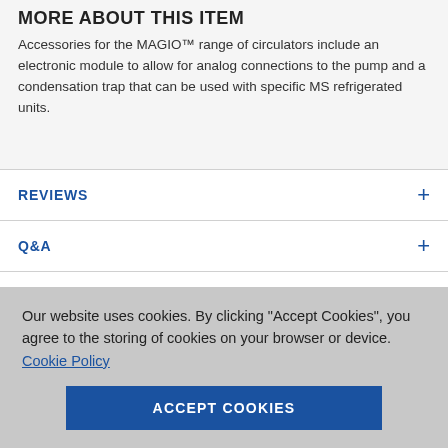MORE ABOUT THIS ITEM
Accessories for the MAGIO™ range of circulators include an electronic module to allow for analog connections to the pump and a condensation trap that can be used with specific MS refrigerated units.
REVIEWS
Q&A
CUSTOMER SUPPORT
Our website uses cookies. By clicking "Accept Cookies", you agree to the storing of cookies on your browser or device. Cookie Policy
ACCEPT COOKIES